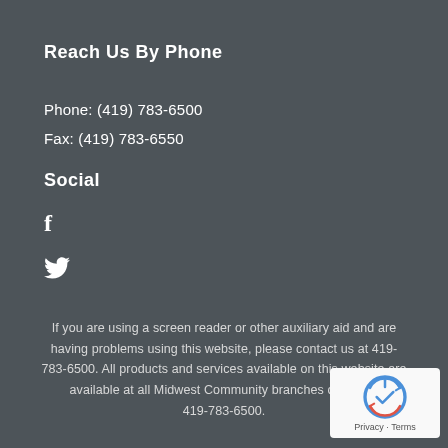Reach Us By Phone
Phone: (419) 783-6500
Fax: (419) 783-6550
Social
f
(twitter bird icon)
If you are using a screen reader or other auxiliary aid and are having problems using this website, please contact us at 419-783-6500. All products and services available on this website are available at all Midwest Community branches or by calling 419-783-6500.
[Figure (logo): reCAPTCHA logo with Privacy and Terms links]